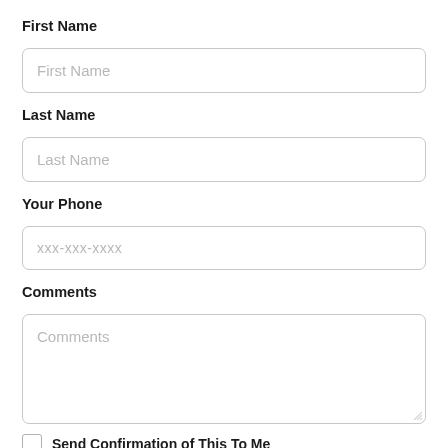First Name
[Figure (other): Text input field with placeholder 'First Name']
Last Name
[Figure (other): Text input field with placeholder 'Last Name']
Your Phone
[Figure (other): Text input field with placeholder 'xxx-xxx-xxxx']
Comments
[Figure (other): Textarea with placeholder 'Comments']
Send Confirmation of This To Me